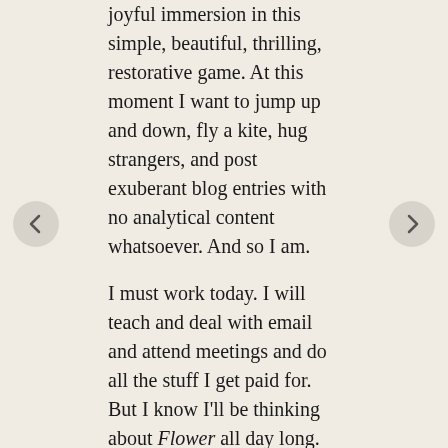joyful immersion in this simple, beautiful, thrilling, restorative game. At this moment I want to jump up and down, fly a kite, hug strangers, and post exuberant blog entries with no analytical content whatsoever. And so I am.
I must work today. I will teach and deal with email and attend meetings and do all the stuff I get paid for. But I know I'll be thinking about Flower all day long. I'll be longing to tilt the controller in my hands and float again on the wind.
Soon I'll sit down and think about this game, and I'll try to write about it more carefully and more thoughtfully than I've done here. But for now, it feels good - and deeply satisfying somehow - to climb to the top of my little blog mountain and